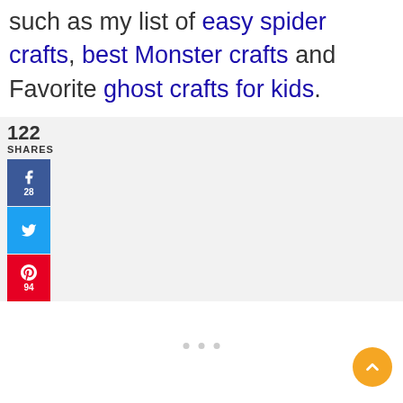such as my list of easy spider crafts, best Monster crafts and Favorite ghost crafts for kids.
[Figure (infographic): Social share panel showing 122 total shares, with Facebook (28 shares), Twitter, and Pinterest (94 saves) buttons]
[Figure (other): Three light gray loading dots indicating an advertisement placeholder]
[Figure (other): Orange circular back-to-top arrow button in bottom right corner]